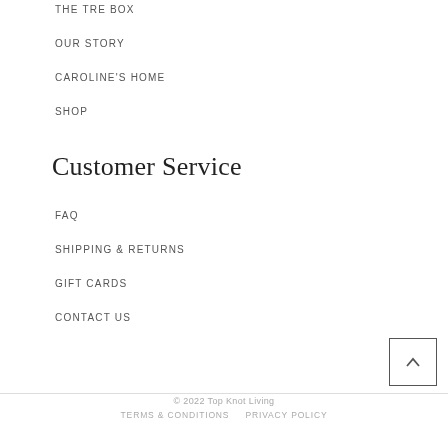THE TRE BOX
OUR STORY
CAROLINE'S HOME
SHOP
Customer Service
FAQ
SHIPPING & RETURNS
GIFT CARDS
CONTACT US
© 2022 Top Knot Living   TERMS & CONDITIONS   PRIVACY POLICY